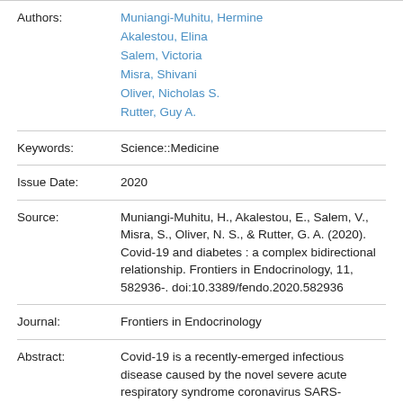| Field | Value |
| --- | --- |
| Authors: | Muniangi-Muhitu, Hermine
Akalestou, Elina
Salem, Victoria
Misra, Shivani
Oliver, Nicholas S.
Rutter, Guy A. |
| Keywords: | Science::Medicine |
| Issue Date: | 2020 |
| Source: | Muniangi-Muhitu, H., Akalestou, E., Salem, V., Misra, S., Oliver, N. S., & Rutter, G. A. (2020). Covid-19 and diabetes : a complex bidirectional relationship. Frontiers in Endocrinology, 11, 582936-. doi:10.3389/fendo.2020.582936 |
| Journal: | Frontiers in Endocrinology |
| Abstract: | Covid-19 is a recently-emerged infectious disease caused by the novel severe acute respiratory syndrome coronavirus SARS- |